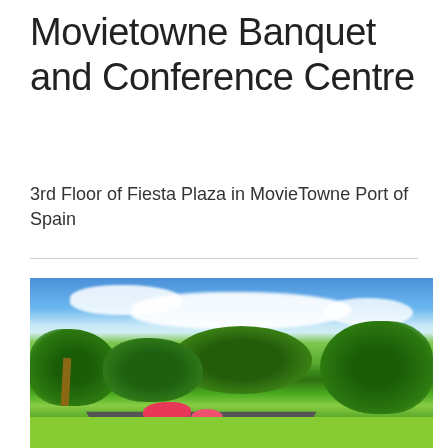Movietowne Banquet and Conference Centre
3rd Floor of Fiesta Plaza in MovieTowne Port of Spain
[Figure (photo): Outdoor photo showing a tropical landscape with lush green trees, a flat-roofed building structure, colorful flowering plants, a palm tree, and a bright blue sky with white clouds.]